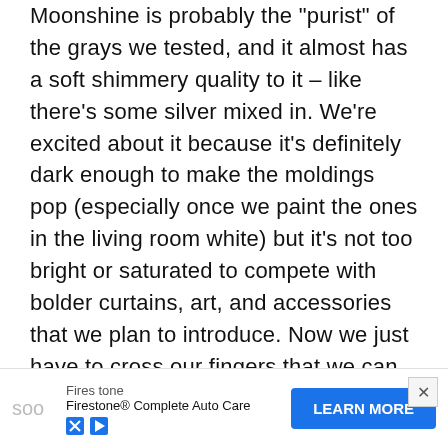Moonshine is probably the "purist" of the grays we tested, and it almost has a soft shimmery quality to it – like there's some silver mixed in. We're excited about it because it's definitely dark enough to make the moldings pop (especially once we paint the ones in the living room white) but it's not too bright or saturated to compete with bolder curtains, art, and accessories that we plan to introduce. Now we just have to cross our fingers that we can find the energy to paint the two largest rooms in our house… and the hallway that connects them. We actually started the job today- but with baby & blog duty going on at the same time, it might take us a few days to get 'er done. We'll share pics as soo
[Figure (other): Advertisement banner for Firestone Complete Auto Care with a Learn More button]